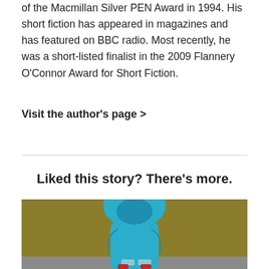of the Macmillan Silver PEN Award in 1994. His short fiction has appeared in magazines and has featured on BBC radio. Most recently, he was a short-listed finalist in the 2009 Flannery O'Connor Award for Short Fiction.
Visit the author's page >
Liked this story? There's more.
[Figure (illustration): Illustration with a golden/olive background showing a stylized blue hooded figure, partially cropped at the bottom of the page.]